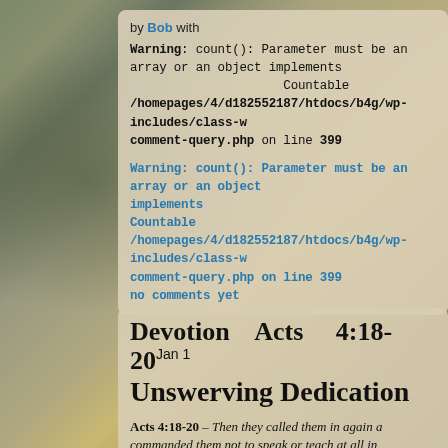by Bob with
Warning: count(): Parameter must be an array or an object implements Countable /homepages/4/d182552187/htdocs/b4g/wp-includes/class-wp-comment-query.php on line 399
Warning: count(): Parameter must be an array or an object implements Countable /homepages/4/d182552187/htdocs/b4g/wp-includes/class-wp-comment-query.php on line 399
no comments yet
Devotion Acts 4:18-20 Jan 1
Unswerving Dedication
Acts 4:18-20 – Then they called them in again and commanded them not to speak or teach at all in